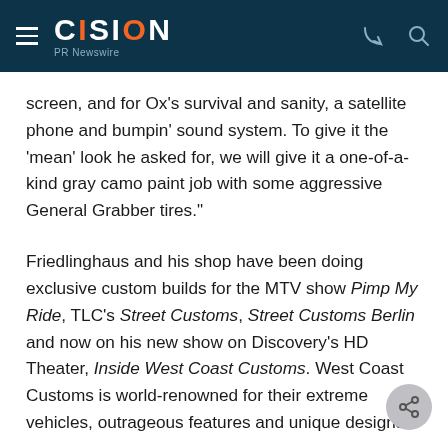CISION PR Newswire
screen, and for Ox's survival and sanity, a satellite phone and bumpin' sound system. To give it the 'mean' look he asked for, we will give it a one-of-a-kind gray camo paint job with some aggressive General Grabber tires."
Friedlinghaus and his shop have been doing exclusive custom builds for the MTV show Pimp My Ride, TLC's Street Customs, Street Customs Berlin and now on his new show on Discovery's HD Theater, Inside West Coast Customs. West Coast Customs is world-renowned for their extreme vehicles, outrageous features and unique designs.